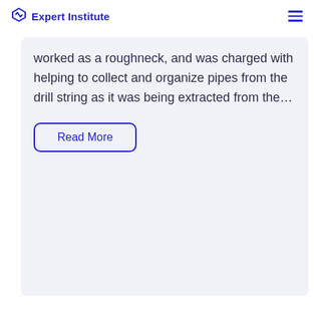Expert Institute
worked as a roughneck, and was charged with helping to collect and organize pipes from the drill string as it was being extracted from the…
Read More